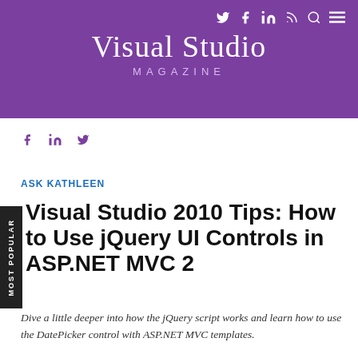Visual Studio Magazine
ASK KATHLEEN
Visual Studio 2010 Tips: How to Use jQuery UI Controls in ASP.NET MVC 2
Dive a little deeper into how the jQuery script works and learn how to use the DatePicker control with ASP.NET MVC templates.